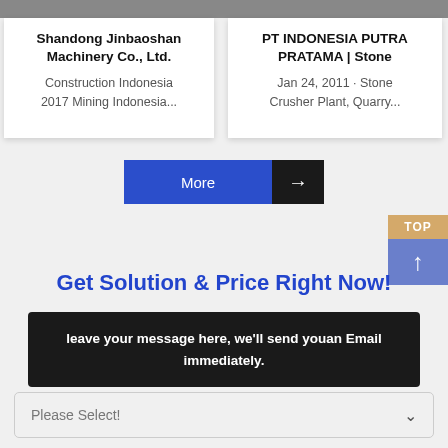Shandong Jinbaoshan Machinery Co., Ltd.
Construction Indonesia 2017 Mining Indonesia...
PT INDONESIA PUTRA PRATAMA | Stone
Jan 24, 2011 · Stone Crusher Plant, Quarry...
[Figure (other): More button with blue and black sections and arrow]
[Figure (other): TOP button with golden label and blue-grey arrow pointing up]
Get Solution & Price Right Now!
leave your message here, we'll send youan Email immediately.
Please Select!